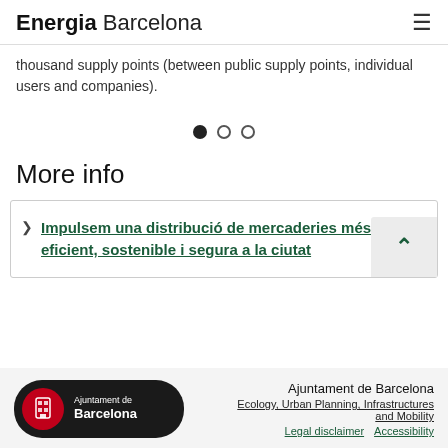Energia Barcelona
thousand supply points (between public supply points, individual users and companies).
[Figure (other): Carousel navigation dots: one filled black dot and two empty circle dots]
More info
Impulsem una distribució de mercaderies més eficient, sostenible i segura a la ciutat
Ajuntament de Barcelona | Ecology, Urban Planning, Infrastructures and Mobility | Legal disclaimer | Accessibility